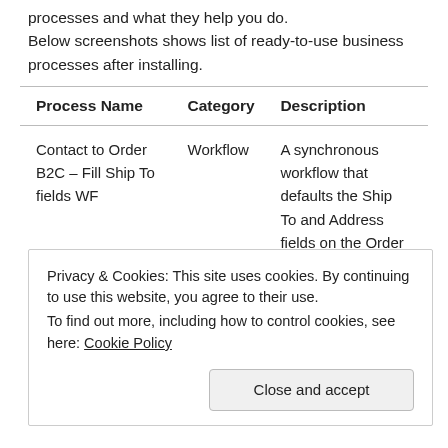processes and what they help you do. Below screenshots shows list of ready-to-use business processes after installing.
| Process Name | Category | Description |
| --- | --- | --- |
| Contact to Order B2C – Fill Ship To fields WF | Workflow | A synchronous workflow that defaults the Ship To and Address fields on the Order form once the… |
Privacy & Cookies: This site uses cookies. By continuing to use this website, you agree to their use.
To find out more, including how to control cookies, see here: Cookie Policy